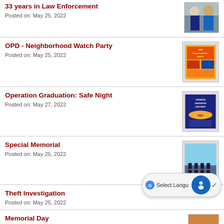33 years in Law Enforcement
Posted on: May 25, 2022
OPD - Neighborhood Watch Party
Posted on: May 25, 2022
Operation Graduation: Safe Night
Posted on: May 27, 2022
Special Memorial
Posted on: May 25, 2022
Theft Investigation
Posted on: May 25, 2022
Memorial Day